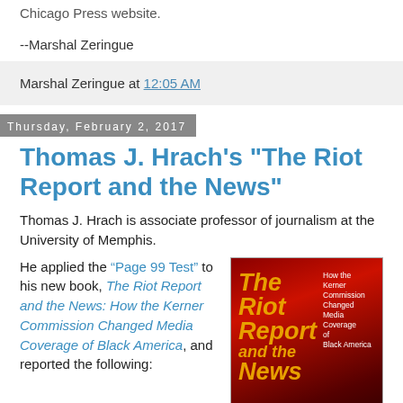Chicago Press website.
--Marshal Zeringue
Marshal Zeringue at 12:05 AM
Thursday, February 2, 2017
Thomas J. Hrach's "The Riot Report and the News"
Thomas J. Hrach is associate professor of journalism at the University of Memphis.
He applied the “Page 99 Test” to his new book, The Riot Report and the News: How the Kerner Commission Changed Media Coverage of Black America, and reported the following:
[Figure (photo): Book cover of 'The Riot Report and the News' showing red background with orange/yellow title text and white subtitle text reading 'How the Kerner Commission Changed Media Coverage of Black America']